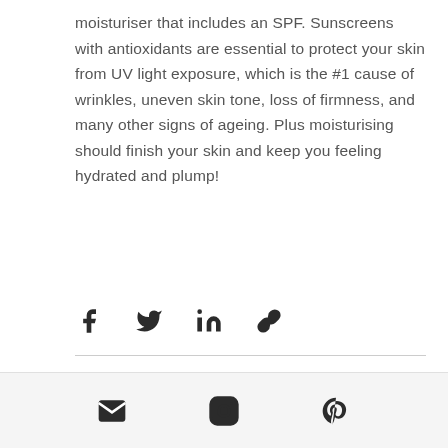moisturiser that includes an SPF. Sunscreens with antioxidants are essential to protect your skin from UV light exposure, which is the #1 cause of wrinkles, uneven skin tone, loss of firmness, and many other signs of ageing. Plus moisturising should finish your skin and keep you feeling hydrated and plump!
[Figure (other): Social share icons: Facebook, Twitter, LinkedIn, and link/copy icon]
[Figure (other): Footer social icons: email/envelope, Instagram, Pinterest]